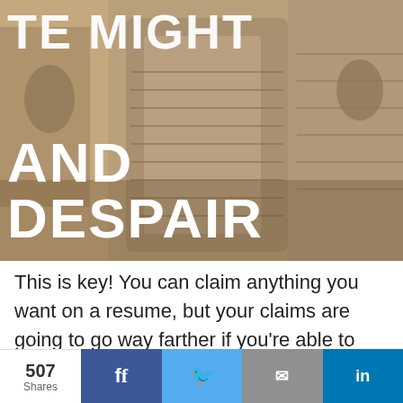[Figure (photo): Photo of ancient Egyptian stone statues (likely Ramesses/pharaoh busts) with large white bold text overlaid. Top text (partially cropped): '[TE MIGHT]' and bottom text: 'AND DESPAIR']
This is key! You can claim anything you want on a resume, but your claims are going to go way farther if you're able to back them up
507 Shares | Facebook share | Twitter share | Email share | LinkedIn share